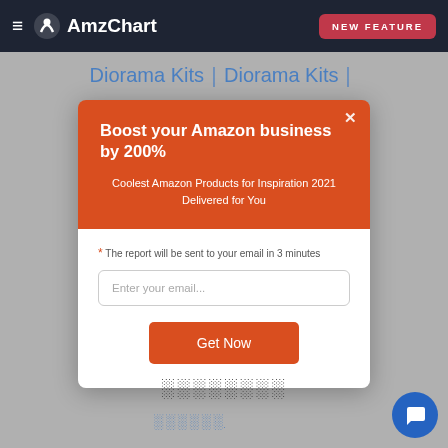≡ AmzChart | NEW FEATURE
Diorama Kits｜Diorama Kits｜
Boost your Amazon business by 200%
Coolest Amazon Products for Inspiration 2021 Delivered for You
* The report will be sent to your email in 3 minutes
Enter your email...
Get Now
░░░░░░░░
░░░░░░